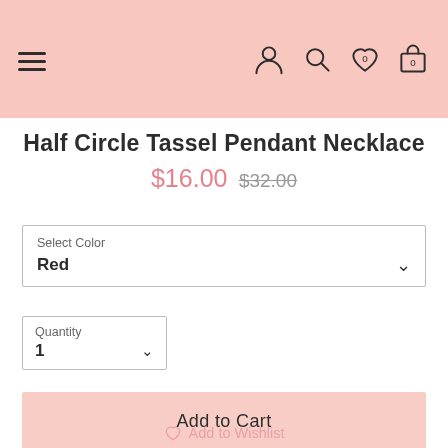Navigation header with hamburger menu and icons: user, search, wishlist (0), cart (0)
Half Circle Tassel Pendant Necklace
$16.00 $32.00
Select Color: Red
Quantity: 1
Add to Cart
Add to Wishlist